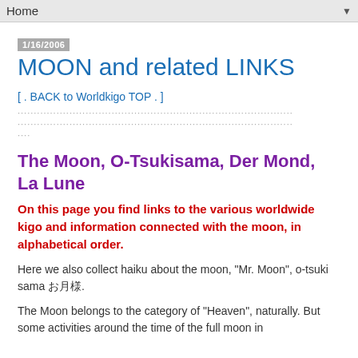Home ▼
1/16/2006
MOON and related LINKS
[ . BACK to Worldkigo TOP . ]
The Moon, O-Tsukisama, Der Mond, La Lune
On this page you find links to the various worldwide kigo and information connected with the moon, in alphabetical order.
Here we also collect haiku about the moon, "Mr. Moon", o-tsuki sama お月様.
The Moon belongs to the category of "Heaven", naturally. But some activities around the time of the full moon in